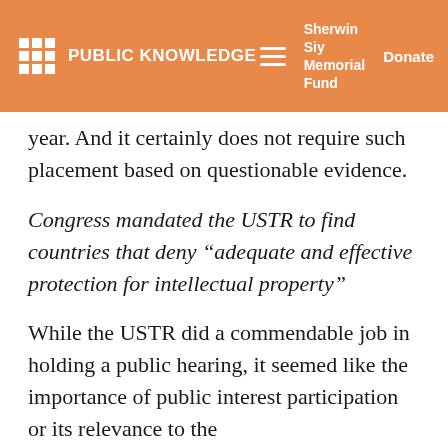PUBLIC KNOWLEDGE | Sherwin Siy Memorial Fund | Donate
year. And it certainly does not require such placement based on questionable evidence.
Congress mandated the USTR to find countries that deny “adequate and effective protection for intellectual property”
While the USTR did a commendable job in holding a public hearing, it seemed like the importance of public interest participation or its relevance to the